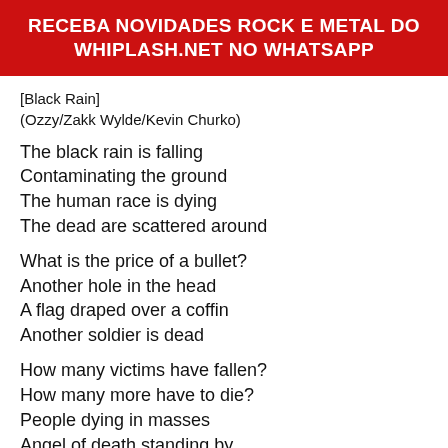RECEBA NOVIDADES ROCK E METAL DO WHIPLASH.NET NO WHATSAPP
[Black Rain]
(Ozzy/Zakk Wylde/Kevin Churko)
The black rain is falling
Contaminating the ground
The human race is dying
The dead are scattered around
What is the price of a bullet?
Another hole in the head
A flag draped over a coffin
Another soldier is dead
How many victims have fallen?
How many more have to die?
People dying in masses
Angel of death standing by
We've got our marching orders